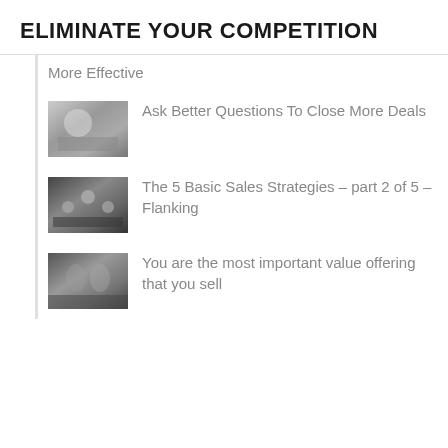ELIMINATE YOUR COMPETITION
More Effective
Ask Better Questions To Close More Deals
The 5 Basic Sales Strategies – part 2 of 5 – Flanking
You are the most important value offering that you sell